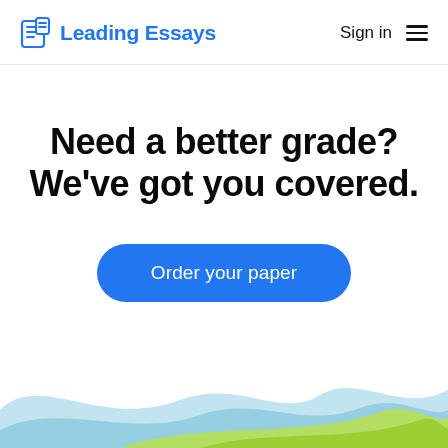Leading Essays — Sign in
Need a better grade? We've got you covered.
Order your paper